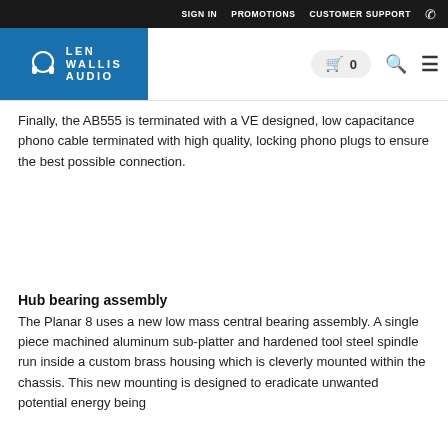SIGN IN  PROMOTIONS  CUSTOMER SUPPORT
[Figure (logo): Len Wallis Audio logo — blue background with headphone icon and brand name in white text]
Finally, the AB555 is terminated with a VE designed, low capacitance phono cable terminated with high quality, locking phono plugs to ensure the best possible connection.
Hub bearing assembly
The Planar 8 uses a new low mass central bearing assembly. A single piece machined aluminum sub-platter and hardened tool steel spindle run inside a custom brass housing which is cleverly mounted within the chassis. This new mounting is designed to eradicate unwanted potential energy being